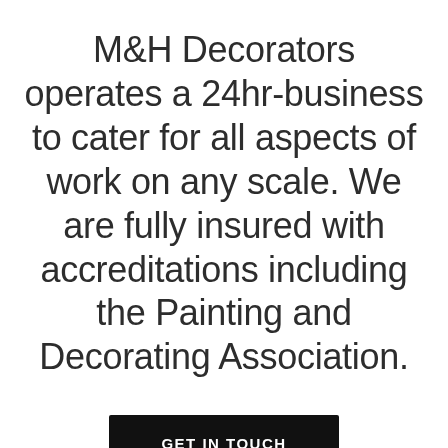M&H Decorators operates a 24hr-business to cater for all aspects of work on any scale. We are fully insured with accreditations including the Painting and Decorating Association.
GET IN TOUCH